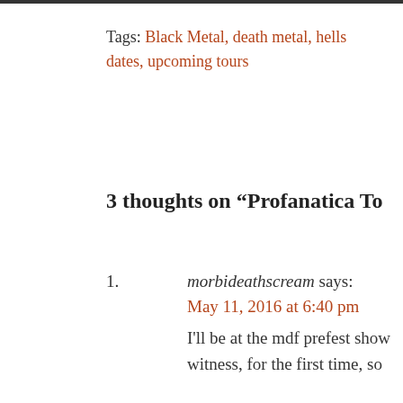Tags: Black Metal, death metal, hells dates, upcoming tours
3 thoughts on “Profanatica To
1. morbideathscream says: May 11, 2016 at 6:40 pm I'll be at the mdf prefest show witness, for the first time, so